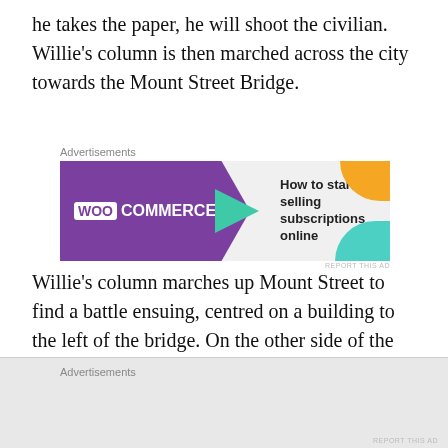he takes the paper, he will shoot the civilian. Willie’s column is then marched across the city towards the Mount Street Bridge.
[Figure (other): WooCommerce advertisement banner: purple banner with WooCommerce logo and text 'How to start selling subscriptions online', with green arrow, orange and teal decorative shapes.]
Willie’s column marches up Mount Street to find a battle ensuing, centred on a building to the left of the bridge. On the other side of the bridge, troops also advance. Willie’s column are commanded to improvise a barricade across the
[Figure (other): Advertisement placeholder bar at the bottom of the page with label 'Advertisements'.]